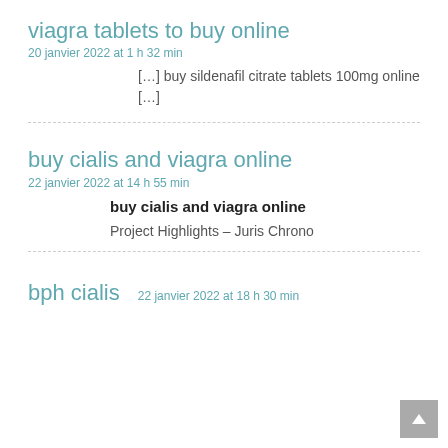viagra tablets to buy online
20 janvier 2022 at 1 h 32 min
[…] buy sildenafil citrate tablets 100mg online […]
buy cialis and viagra online
22 janvier 2022 at 14 h 55 min
buy cialis and viagra online
Project Highlights – Juris Chrono
bph cialis
22 janvier 2022 at 18 h 30 min